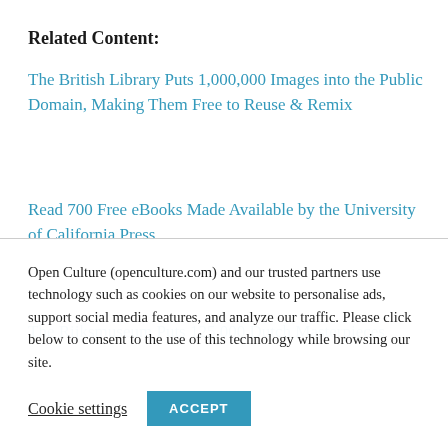Related Content:
The British Library Puts 1,000,000 Images into the Public Domain, Making Them Free to Reuse & Remix
Read 700 Free eBooks Made Available by the University of California Press
The Rijksmuseum Puts 125,000 Dutch Masterpieces
Open Culture (openculture.com) and our trusted partners use technology such as cookies on our website to personalise ads, support social media features, and analyze our traffic. Please click below to consent to the use of this technology while browsing our site.
Cookie settings  ACCEPT